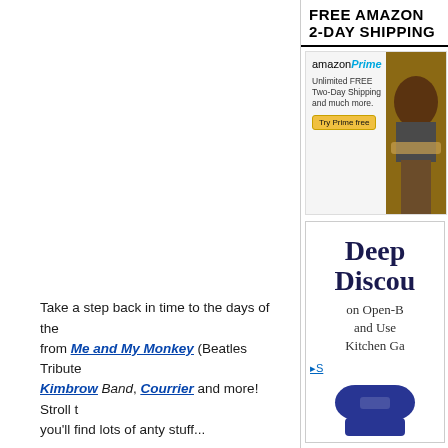[Figure (screenshot): FREE AMAZON 2-DAY SHIPPING advertisement header with bold text]
[Figure (screenshot): Amazon Prime advertisement banner showing 'Unlimited FREE Two-Day Shipping and much more. Try Prime free' with photo of person]
[Figure (screenshot): Deep Discounts on Open-[Box] and Use[d] Kitchen Ga[dgets] advertisement with blender image and See link]
Take a step back in time to the days of the [Beatles] from Me and My Monkey (Beatles Tribute [Band) Kimbrow Band, Courrier and more! Stroll t[hrough and] you'll find lots of antsy stuff...